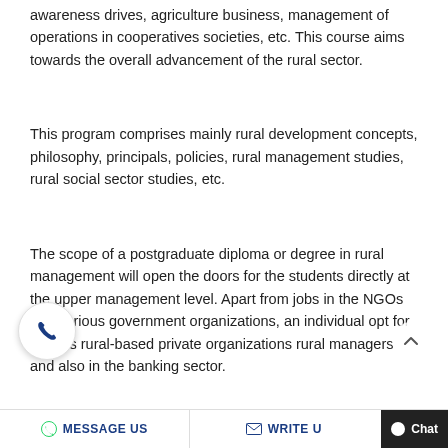awareness drives, agriculture business, management of operations in cooperatives societies, etc. This course aims towards the overall advancement of the rural sector.
This program comprises mainly rural development concepts, philosophy, principals, policies, rural management studies, rural social sector studies, etc.
The scope of a postgraduate diploma or degree in rural management will open the doors for the students directly at the upper management level. Apart from jobs in the NGOs and various government organizations, an individual opt for various rural-based private organizations rural managers and also in the banking sector.
MESSAGE US   WRITE US   Chat